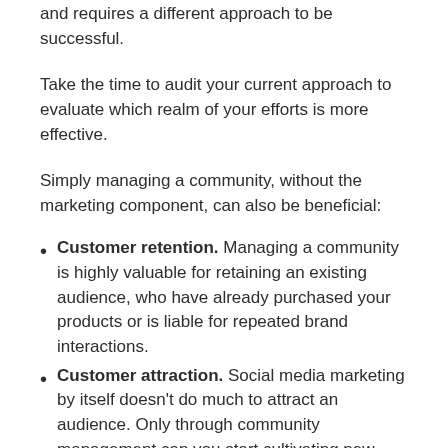and requires a different approach to be successful.
Take the time to audit your current approach to evaluate which realm of your efforts is more effective.
Simply managing a community, without the marketing component, can also be beneficial:
Customer retention. Managing a community is highly valuable for retaining an existing audience, who have already purchased your products or is liable for repeated brand interactions.
Customer attraction. Social media marketing by itself doesn't do much to attract an audience. Only through community management can you start cultivating new audience members.
Increased brand penetration. Community...